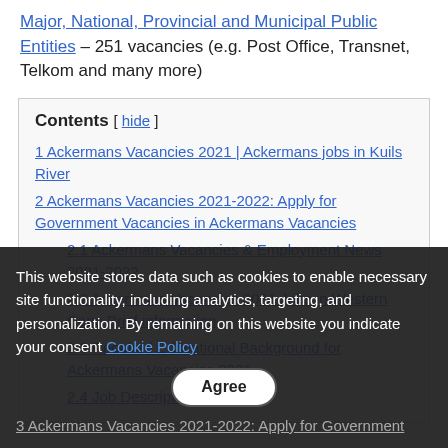Major, National, Provincial and Municipal Public Entities – 251 vacancies (e.g. Post Office, Transnet, Telkom and many more)
Contents [ hide ]
1 Ackermans Vacancies 2021 | Ackermans jobs in Kuils River
2 Ackermans Vacancies 2021-2022: Apply for Government Vacancies in Ackermans Vacancies
2.1 Ackermans Vacancies & Employment News 2021-2022
2.2 Ackermans Vacancies 2021 Jobs in Western Cape Brief information
2.3 Required Educational Background for Ackermans Vacancies 2021
2.4 Job Description
This website stores data such as cookies to enable necessary site functionality, including analytics, targeting, and personalization. By remaining on this website you indicate your consent Cookie Policy
3 Ackermans Vacancies 2021-2022: Apply for Government